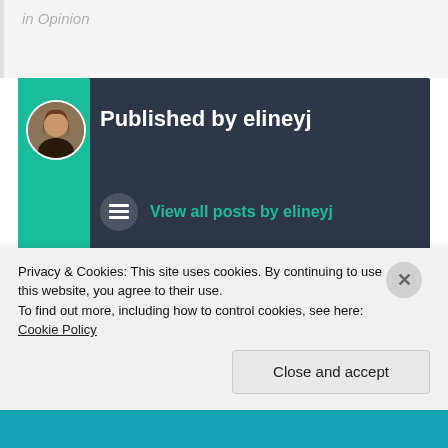in Opinion
Published by elineyj
View all posts by elineyj
21 October 2015
Opinion, Travel
Privacy & Cookies: This site uses cookies. By continuing to use this website, you agree to their use.
To find out more, including how to control cookies, see here: Cookie Policy
Close and accept